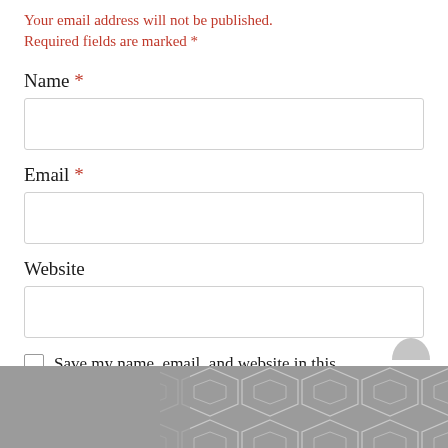Your email address will not be published. Required fields are marked *
Name *
Email *
Website
Save my name, email, and website in this
[Figure (illustration): Gray geometric hexagon/diamond pattern background image at bottom of page]